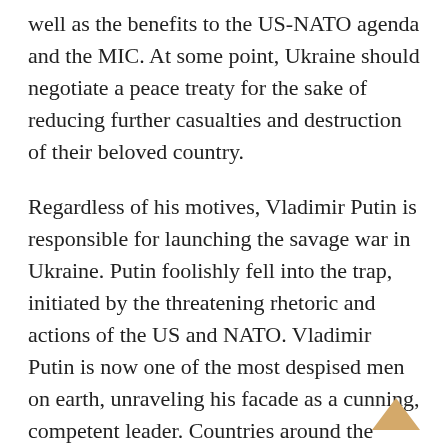well as the benefits to the US-NATO agenda and the MIC. At some point, Ukraine should negotiate a peace treaty for the sake of reducing further casualties and destruction of their beloved country.
Regardless of his motives, Vladimir Putin is responsible for launching the savage war in Ukraine. Putin foolishly fell into the trap, initiated by the threatening rhetoric and actions of the US and NATO. Vladimir Putin is now one of the most despised men on earth, unraveling his facade as a cunning, competent leader. Countries around the world will sanction, punish, and ostracize Russia – with the objective of crippling their economy. The political and economic cost to Russia will severely hinder them for years. Longer if Putin retains power.
Every effort should be made to encourage Vladimir